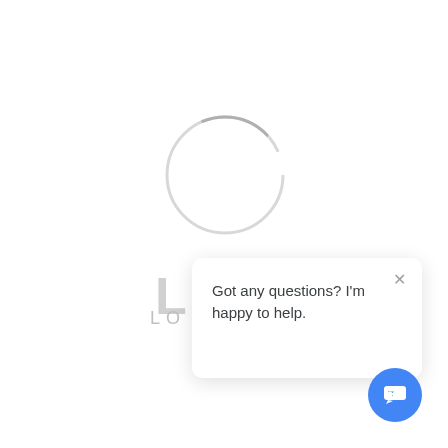[Figure (other): A loading spinner circle (light gray outlined circle, partially complete arc) centered in the upper portion of the page]
[Figure (screenshot): A chat popup widget showing a white rounded rectangle with the text 'Got any questions? I'm happy to help.' and an X close button in the top right, plus a blue circular chat button icon in the bottom right corner]